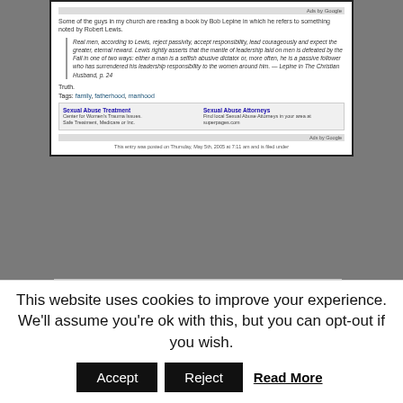[Figure (screenshot): A blurry screenshot of a blog post showing a quoted passage about real men rejecting passivity and accepting responsibility, with tags (family, fatherhood, manhood) and Google ads for Sexual Abuse Treatment and Sexual Abuse Attorneys.]
I know it's blurry. That's because I don't know the policy on copying ads, but you can see, despite the blurriness, that these ads have little to do with the post, which is here...
This website uses cookies to improve your experience. We'll assume you're ok with this, but you can opt-out if you wish.
Accept | Reject | Read More